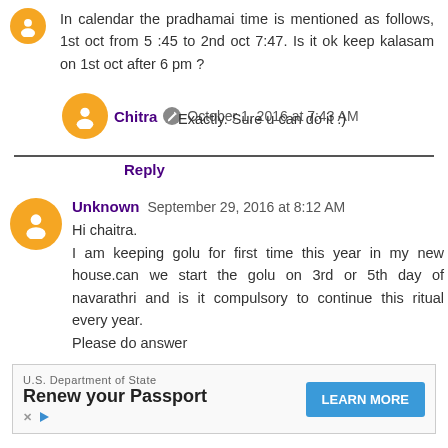In calendar the pradhamai time is mentioned as follows, 1st oct from 5 :45 to 2nd oct 7:47. Is it ok keep kalasam on 1st oct after 6 pm ?
Chitra  October 1, 2016 at 7:43 AM
Exactly. Sure u can do it :)
Reply
Unknown  September 29, 2016 at 8:12 AM
Hi chaitra.
I am keeping golu for first time this year in my new house.can we start the golu on 3rd or 5th day of navarathri and is it compulsory to continue this ritual every year.
Please do answer
[Figure (infographic): Advertisement banner: U.S. Department of State - Renew your Passport with LEARN MORE button]